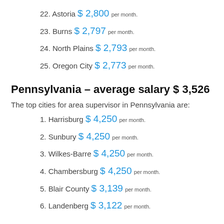22. Astoria $ 2,800 per month.
23. Burns $ 2,797 per month.
24. North Plains $ 2,793 per month.
25. Oregon City $ 2,773 per month.
Pennsylvania – average salary $ 3,526
The top cities for area supervisor in Pennsylvania are:
1. Harrisburg $ 4,250 per month.
2. Sunbury $ 4,250 per month.
3. Wilkes-Barre $ 4,250 per month.
4. Chambersburg $ 4,250 per month.
5. Blair County $ 3,139 per month.
6. Landenberg $ 3,122 per month.